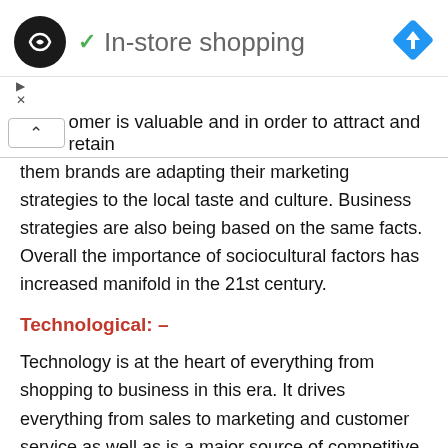✓ In-store shopping
omer is valuable and in order to attract and retain them brands are adapting their marketing strategies to the local taste and culture. Business strategies are also being based on the same facts. Overall the importance of sociocultural factors has increased manifold in the 21st century.
Technological: –
Technology is at the heart of everything from shopping to business in this era. It drives everything from sales to marketing and customer service as well as is a major source of competitive advantage for brands. Not just this technology also helps brands to offer better shopping experience to their customers.